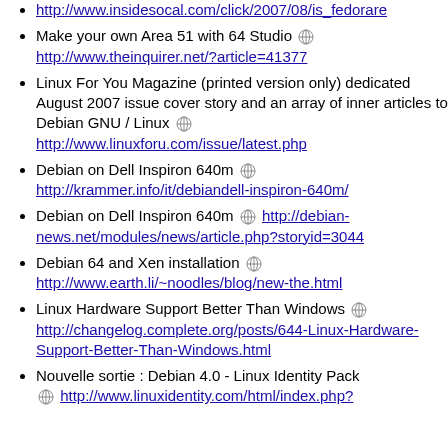http://www.insidesocal.com/click/2007/08/is_fedorare
Make your own Area 51 with 64 Studio http://www.theinquirer.net/?article=41377
Linux For You Magazine (printed version only) dedicated August 2007 issue cover story and an array of inner articles to Debian GNU / Linux http://www.linuxforu.com/issue/latest.php
Debian on Dell Inspiron 640m http://krammer.info/it/debiandell-inspiron-640m/
Debian on Dell Inspiron 640m http://debian-news.net/modules/news/article.php?storyid=3044
Debian 64 and Xen installation http://www.earth.li/~noodles/blog/new-the.html
Linux Hardware Support Better Than Windows http://changelog.complete.org/posts/644-Linux-Hardware-Support-Better-Than-Windows.html
Nouvelle sortie : Debian 4.0 - Linux Identity Pack http://www.linuxidentity.com/html/index.php?